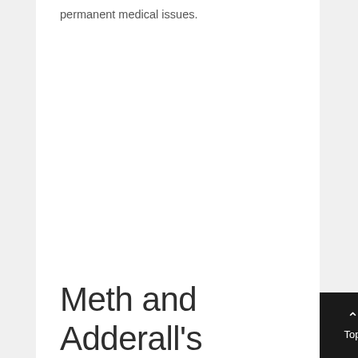permanent medical issues.
Meth and Adderall's